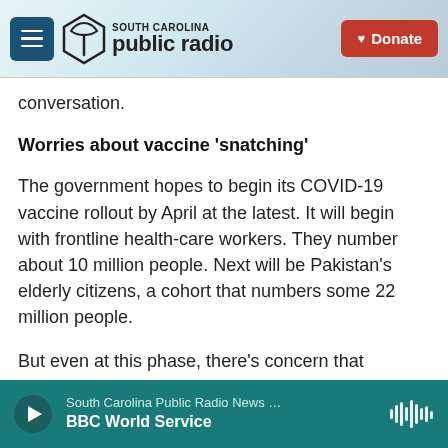[Figure (logo): South Carolina Public Radio website header with hamburger menu, SC Public Radio logo, and Donate button]
conversation.
Worries about vaccine 'snatching'
The government hopes to begin its COVID-19 vaccine rollout by April at the latest. It will begin with frontline health-care workers. They number about 10 million people. Next will be Pakistan's elderly citizens, a cohort that numbers some 22 million people.
But even at this phase, there's concern that Pakistan's powerful elites could muscle in to obtain
[Figure (other): Audio player bar at the bottom showing South Carolina Public Radio News / BBC World Service with play button and waveform icon]